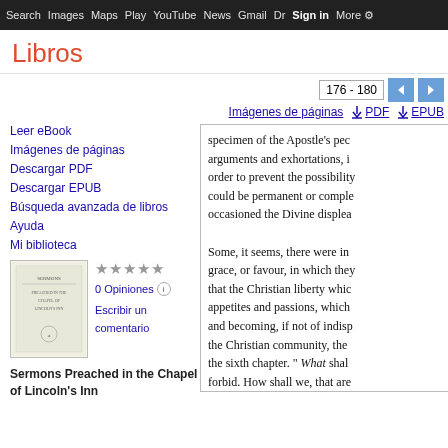Search  Images  Maps  Play  YouTube  News  Gmail  Drive  More  Sign in
Libros
176 - 180
Imágenes de páginas
PDF
EPUB
Leer eBook
Imágenes de páginas
Descargar PDF
Descargar EPUB
Búsqueda avanzada de libros
Ayuda
Mi biblioteca
0 Opiniones
Escribir un comentario
Sermons Preached in the Chapel of Lincoln's Inn
specimen of the Apostle's pec arguments and exhortations, i order to prevent the possibility could be permanent or comple occasioned the Divine displea Some, it seems, there were in grace, or favour, in which they that the Christian liberty whic appetites and passions, which and becoming, if not of indisp the Christian community, the the sixth chapter. " What shal forbid. How shall we, that are By every variety of argume